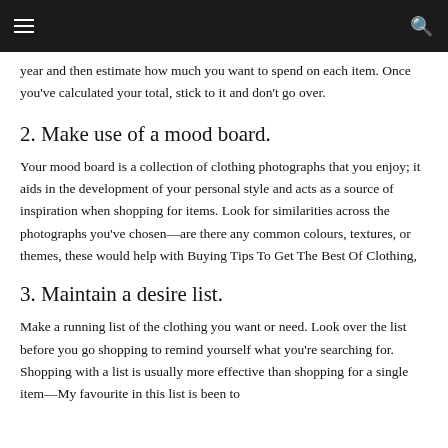[navigation bar with menu and search icons]
year and then estimate how much you want to spend on each item. Once you've calculated your total, stick to it and don't go over.
2. Make use of a mood board.
Your mood board is a collection of clothing photographs that you enjoy; it aids in the development of your personal style and acts as a source of inspiration when shopping for items. Look for similarities across the photographs you've chosen—are there any common colours, textures, or themes, these would help with Buying Tips To Get The Best Of Clothing,
3. Maintain a desire list.
Make a running list of the clothing you want or need. Look over the list before you go shopping to remind yourself what you're searching for. Shopping with a list is usually more effective than shopping for a single item—My favourite in this list is been to